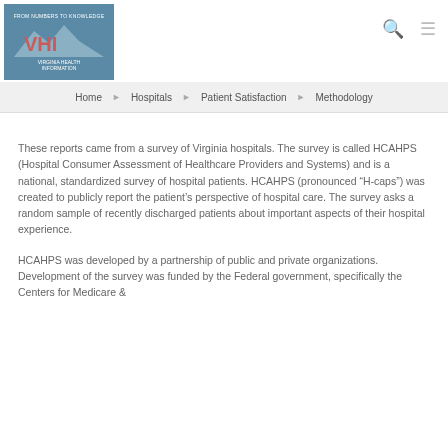FROM NUMBERS TO KNOWLEDGE | VHI | VIRGINIA HEALTH INFORMATION | Home | Hospitals | Patient Satisfaction | Methodology
These reports came from a survey of Virginia hospitals. The survey is called HCAHPS (Hospital Consumer Assessment of Healthcare Providers and Systems) and is a national, standardized survey of hospital patients. HCAHPS (pronounced “H-caps”) was created to publicly report the patient’s perspective of hospital care. The survey asks a random sample of recently discharged patients about important aspects of their hospital experience.
HCAHPS was developed by a partnership of public and private organizations. Development of the survey was funded by the Federal government, specifically the Centers for Medicare &